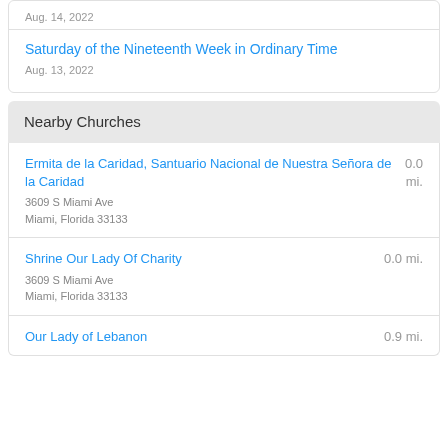Aug. 14, 2022
Saturday of the Nineteenth Week in Ordinary Time
Aug. 13, 2022
Nearby Churches
Ermita de la Caridad, Santuario Nacional de Nuestra Señora de la Caridad
0.0 mi.
3609 S Miami Ave
Miami, Florida 33133
Shrine Our Lady Of Charity
0.0 mi.
3609 S Miami Ave
Miami, Florida 33133
Our Lady of Lebanon
0.9 mi.